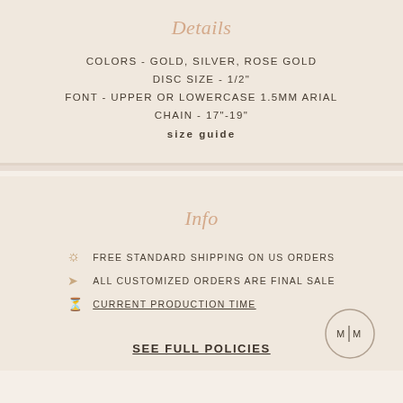Details
COLORS - GOLD, SILVER, ROSE GOLD
DISC SIZE - 1/2"
FONT - UPPER OR LOWERCASE 1.5MM ARIAL
CHAIN - 17"-19"
size guide
Info
FREE STANDARD SHIPPING ON US ORDERS
ALL CUSTOMIZED ORDERS ARE FINAL SALE
CURRENT PRODUCTION TIME
SEE FULL POLICIES